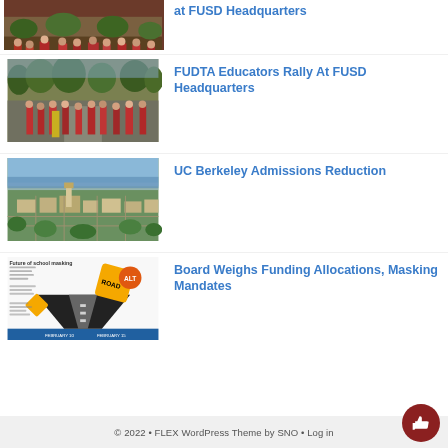[Figure (photo): Partial view of crowd of people in red shirts at outdoor rally near FUSD Headquarters, trees visible in background]
at FUSD Headquarters
[Figure (photo): Group of educators in red shirts marching/walking outdoors, trees lining the path, FUDTA rally at FUSD Headquarters]
FUDTA Educators Rally At FUSD Headquarters
[Figure (photo): Aerial view of UC Berkeley campus and surrounding city, bay visible in background, Campanile tower prominent]
UC Berkeley Admissions Reduction
[Figure (infographic): School masking infographic showing road stretching into distance with warning signs, titled 'Future of school masking' with dates February 10 and February 15 marked]
Board Weighs Funding Allocations, Masking Mandates
© 2022 • FLEX WordPress Theme by SNO • Log in